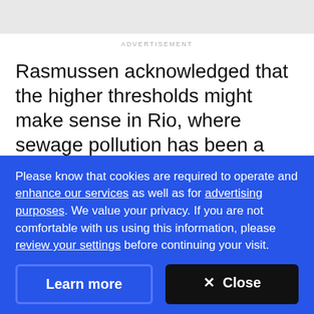ADVERTISEMENT
Rasmussen acknowledged that the higher thresholds might make sense in Rio, where sewage pollution has been a perennial problem, meaning that locals are regularly exposed to the pathogens lurking in raw waste from an early age and therefore build up immunities. But visitors are unlikely to have such
Please know that cookies are required to operate and enhance our services as well as for advertising purposes. We value your privacy. If you are not comfortable with us using this information, please review your settings before continuing your visit.
Learn more
✕ Close